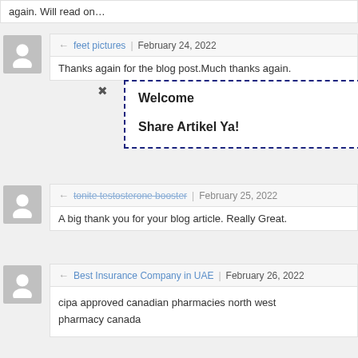again. Will read on…
feet pictures | February 24, 2022
Thanks again for the blog post.Much thanks again.
Welcome

Share Artikel Ya!
tonite testosterone booster | February 25, 2022
A big thank you for your blog article. Really Great.
Best Insurance Company in UAE | February 26, 2022
cipa approved canadian pharmacies north west pharmacy canada